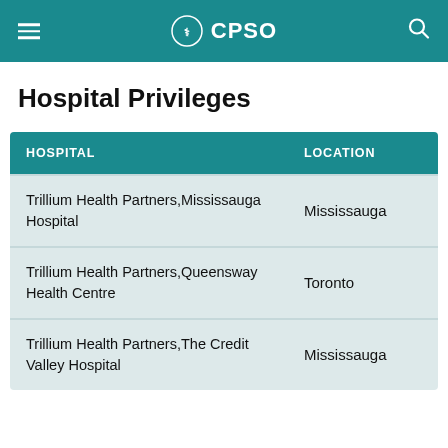CPSO
Hospital Privileges
| HOSPITAL | LOCATION |
| --- | --- |
| Trillium Health Partners,Mississauga Hospital | Mississauga |
| Trillium Health Partners,Queensway Health Centre | Toronto |
| Trillium Health Partners,The Credit Valley Hospital | Mississauga |